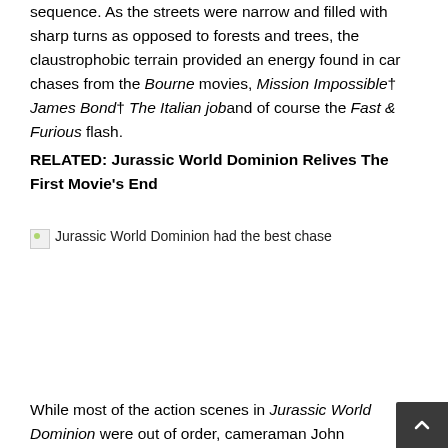sequence. As the streets were narrow and filled with sharp turns as opposed to forests and trees, the claustrophobic terrain provided an energy found in car chases from the Bourne movies, Mission Impossible† James Bond† The Italian job and of course the Fast & Furious flash.
RELATED: Jurassic World Dominion Relives The First Movie's End
[Figure (photo): Broken image placeholder with alt text: Jurassic World Dominion had the best chase]
While most of the action scenes in Jurassic World Dominion were out of order, cameraman John